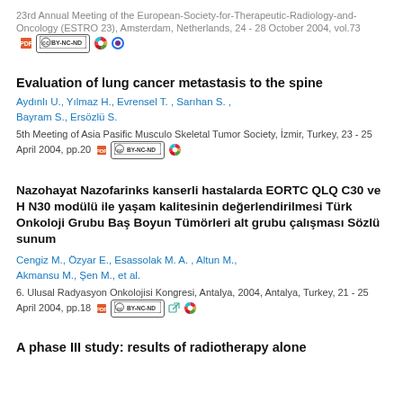23rd Annual Meeting of the European-Society-for-Therapeutic-Radiology-and-Oncology (ESTRO 23), Amsterdam, Netherlands, 24 - 28 October 2004, vol.73
Evaluation of lung cancer metastasis to the spine
Aydınlı U., Yılmaz H., Evrensel T. , Sarıhan S. , Bayram S., Ersözlü S.
5th Meeting of Asia Pasific Musculo Skeletal Tumor Society, İzmir, Turkey, 23 - 25 April 2004, pp.20
Nazohayat Nazofarinks kanserli hastalarda EORTC QLQ C30 ve H N30 modülü ile yaşam kalitesinin değerlendirilmesi Türk Onkoloji Grubu Baş Boyun Tümörleri alt grubu çalışması Sözlü sunum
Cengiz M., Özyar E., Esassolak M. A. , Altun M., Akmansu M., Şen M., et al.
6. Ulusal Radyasyon Onkolojisi Kongresi, Antalya, 2004, Antalya, Turkey, 21 - 25 April 2004, pp.18
A phase III study: results of radiotherapy alone